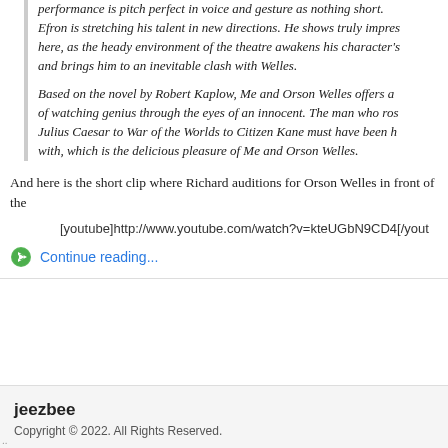performance is pitch perfect in voice and gesture as nothing short. Efron is stretching his talent in new directions. He shows truly impressive here, as the heady environment of the theatre awakens his character's and brings him to an inevitable clash with Welles.
Based on the novel by Robert Kaplow, Me and Orson Welles offers all of watching genius through the eyes of an innocent. The man who rose Julius Caesar to War of the Worlds to Citizen Kane must have been h with, which is the delicious pleasure of Me and Orson Welles.
And here is the short clip where Richard auditions for Orson Welles in front of the
[youtube]http://www.youtube.com/watch?v=kteUGbN9CD4[/yout
Continue reading...
jeezbee
Copyright © 2022. All Rights Reserved.